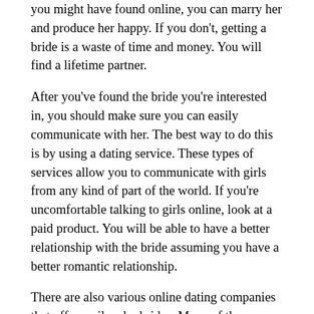you might have found online, you can marry her and produce her happy. If you don't, getting a bride is a waste of time and money. You will find a lifetime partner.
After you've found the bride you're interested in, you should make sure you can easily communicate with her. The best way to do this is by using a dating service. These types of services allow you to communicate with girls from any kind of part of the world. If you're uncomfortable talking to girls online, look at a paid product. You will be able to have a better relationship with the bride assuming you have a better romantic relationship.
There are also various online dating companies that offer mail-order brides. Many of these services require you to register in order to find the right girl. These sites are incredibly easy to use and definitely will give you a variety of options. If you want to find a new bride online, you'll need to choose a service plan that's well-known and comes with a excellent popularity. Choosing the right a person will ensure you marry the perfect